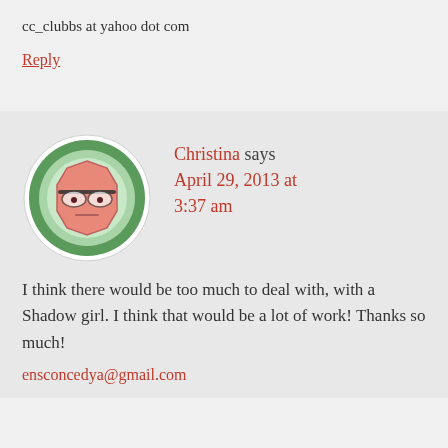cc_clubbs at yahoo dot com
Reply
[Figure (illustration): Circular avatar with green border showing a cartoon octagon-shaped face character with glasses and a flat expression on a gradient green/white background]
Christina says April 29, 2013 at 3:37 am
I think there would be too much to deal with, with a Shadow girl. I think that would be a lot of work! Thanks so much!
ensconcedya@gmail.com